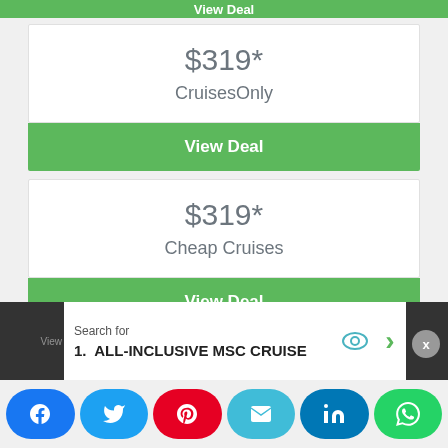View Deal
$319*
CruisesOnly
View Deal
$319*
Cheap Cruises
View Deal
View 4 more prices
Search for
1. ALL-INCLUSIVE MSC CRUISE
[Figure (screenshot): Social share buttons: Facebook, Twitter, Pinterest, Email, LinkedIn, WhatsApp]